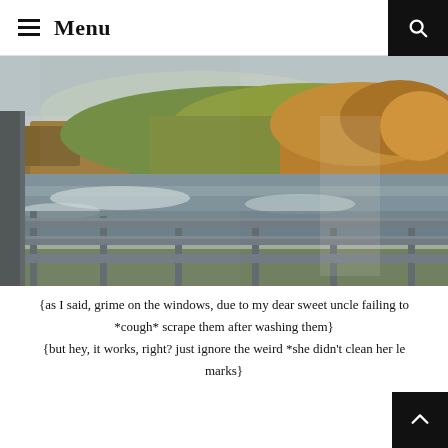≡ Menu
[Figure (photo): Landscape photo taken through a car window showing an icy river or lake, autumn-colored trees on a hillside in the background, and a metal highway guardrail in the foreground. The image has a slight blur/grime effect from the dirty window.]
{as I said, grime on the windows, due to my dear sweet uncle failing to *cough* scrape them after washing them}
{but hey, it works, right? just ignore the weird *she didn't clean her le marks}